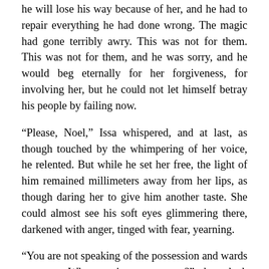he will lose his way because of her, and he had to repair everything he had done wrong. The magic had gone terribly awry. This was not for them. This was not for them, and he was sorry, and he would beg eternally for her forgiveness, for involving her, but he could not let himself betray his people by failing now.
“Please, Noel,” Issa whispered, and at last, as though touched by the whimpering of her voice, he relented. But while he set her free, the light of him remained millimeters away from her lips, as though daring her to give him another taste. She could almost see his soft eyes glimmering there, darkened with anger, tinged with fear, yearning.
“You are not speaking of the possession and wards anymore. What magic went wrong?” she asked, her breaths ragged, exhausted by his turmoil, but at least in